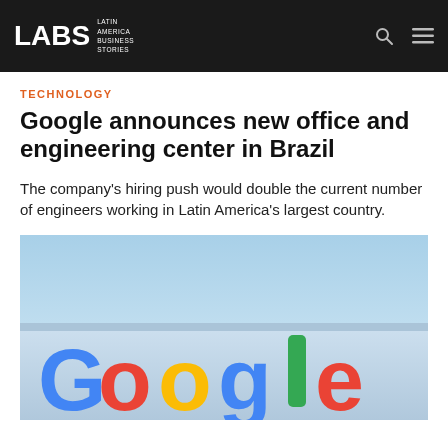LABS Latin America Business Stories
TECHNOLOGY
Google announces new office and engineering center in Brazil
The company's hiring push would double the current number of engineers working in Latin America's largest country.
[Figure (photo): Google logo sign in blue, red, yellow and green letters on a light blue background]